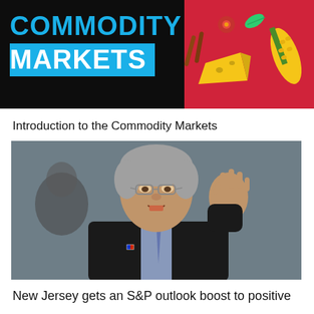[Figure (illustration): Commodity Markets banner with black background on left showing 'COMMODITY' in cyan and 'MARKETS' in white on cyan box, right side red background with food/spice illustrations (corn, cheese, spices)]
Introduction to the Commodity Markets
[Figure (photo): Photo of a grey-haired man in a dark suit with glasses, gesturing with his right hand raised, speaking at an event. Another person partially visible in background.]
New Jersey gets an S&P outlook boost to positive